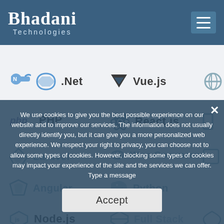Bhadani Technologies
[Figure (screenshot): Website screenshot showing Bhadani Technologies header with logo and hamburger menu, technology stack grid listing .Net, Vue.js, PHP, React.js, Laravel, WooCommerce, Angular, Python, Node.js, Full Stack with icons, overlaid by a cookie consent popup saying 'We use cookies to give you the best possible experience on our website and to improve our services. The information does not usually directly identify you, but it can give you a more personalized web experience. We respect your right to privacy, you can choose not to allow some types of cookies. However, blocking some types of cookies may impact your experience of the site and the services we can offer. Type a message' with an Accept button.]